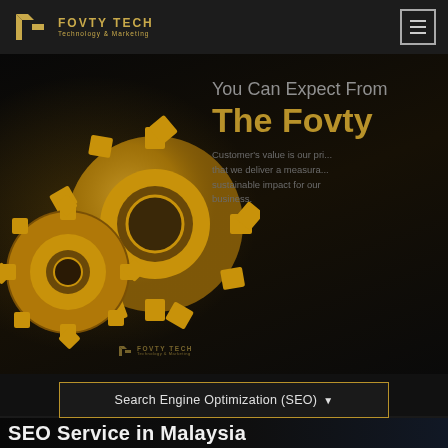[Figure (logo): Fovty Tech logo: gold F-shaped icon with text 'FOVTY TECH Technology & Marketing']
[Figure (illustration): Golden 3D gear/cog wheels on dark background with Fovty Tech watermark]
You Can Expect From
The Fovty
Customer's value is our pri... that we deliver a measura... sustainable impact for our business.
Search Engine Optimization (SEO) ▾
SEO Service in Malaysia